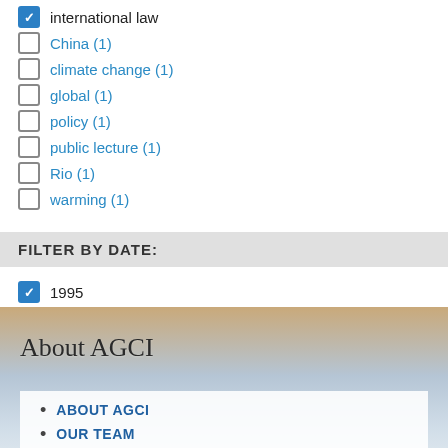international law (checked)
China (1)
climate change (1)
global (1)
policy (1)
public lecture (1)
Rio (1)
warming (1)
FILTER BY DATE:
1995 (checked)
About AGCI
ABOUT AGCI
OUR TEAM
AGCI NEWS & EVENTS